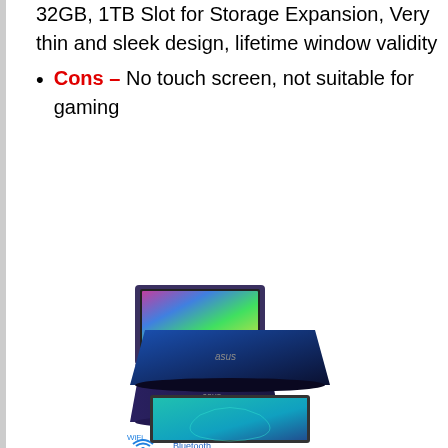32GB, 1TB Slot for Storage Expansion, Very thin and sleek design, lifetime window validity
Cons – No touch screen, not suitable for gaming
[Figure (photo): Multiple product photos of an ASUS VivoBook laptop showing different angles, plus connectivity icons (WiFi, Bluetooth, HDMI, Web Camera) and screen close-up]